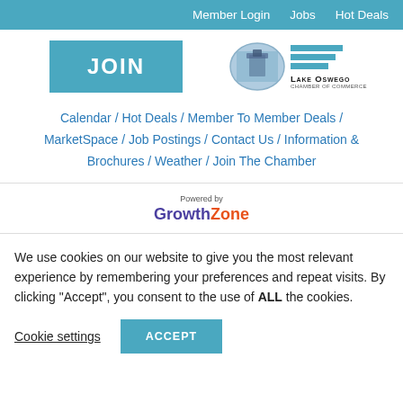Member Login / Jobs / Hot Deals
[Figure (logo): JOIN button (teal) and Lake Oswego Chamber of Commerce logo with oval image and horizontal lines]
Calendar / Hot Deals / Member To Member Deals / MarketSpace / Job Postings / Contact Us / Information & Brochures / Weather / Join The Chamber
[Figure (logo): Powered by GrowthZone logo - GrowthZone in purple and orange]
We use cookies on our website to give you the most relevant experience by remembering your preferences and repeat visits. By clicking "Accept", you consent to the use of ALL the cookies.
Cookie settings | ACCEPT